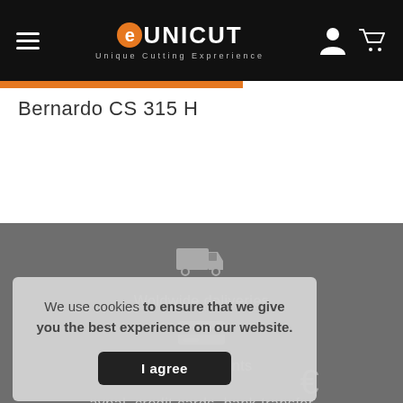eUNICUT – Unique Cutting Exprerience
Bernardo CS 315 H
[Figure (infographic): Footer section with delivery truck icon, credit card icon, euro sign, and phone icon on dark grey background]
Woldwide deliveries
Safe payments
Paypal, credit cards, bank transfer
Call service Center
We use cookies to ensure that we give you the best experience on our website.
I agree